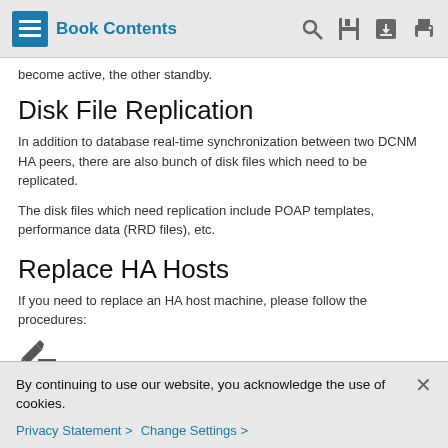Book Contents
become active, the other standby.
Disk File Replication
In addition to database real-time synchronization between two DCNM HA peers, there are also bunch of disk files which need to be replicated.
The disk files which need replication include POAP templates, performance data (RRD files), etc.
Replace HA Hosts
If you need to replace an HA host machine, please follow the procedures:
By continuing to use our website, you acknowledge the use of cookies.
Privacy Statement > Change Settings >